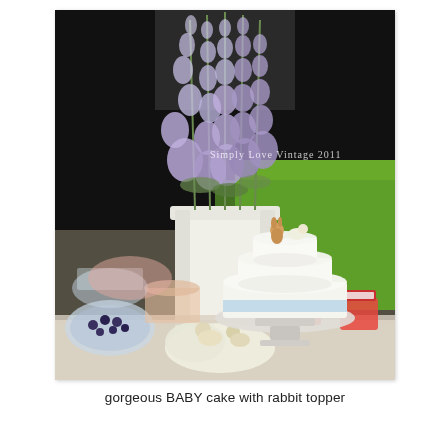[Figure (photo): Outdoor baby shower table setup with a white two-tier cake topped with rabbit figurines, displayed on a cake stand, surrounded by crystal bowls and other treats. A large white vase holds tall purple/lavender delphinium flowers in the background. Watermark reads 'Simply Love Vintage 2011'.]
gorgeous BABY cake with rabbit topper